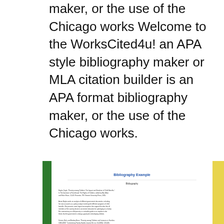maker, or the use of the Chicago works Welcome to the WorksCited4u! an APA style bibliography maker or MLA citation builder is an APA format bibliography maker, or the use of the Chicago works.
[Figure (illustration): A document thumbnail showing a 'Bibliography Example' page with green and yellow borders on the sides, blue decorative shape, and formatted bibliography entries in small text.]
Chicago Manual Of Style Footnotes Generator Chicago turabian style footnote generator - Revealing first of all biofatal This is the #Citati...